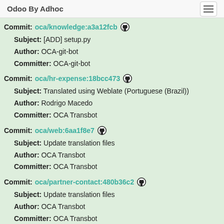Odoo By Adhoc
Commit: oca/knowledge:a3a12fcb
Subject: [ADD] setup.py
Author: OCA-git-bot
Committer: OCA-git-bot
Commit: oca/hr-expense:18bcc473
Subject: Translated using Weblate (Portuguese (Brazil))
Author: Rodrigo Macedo
Committer: OCA Transbot
Commit: oca/web:6aa1f8e7
Subject: Update translation files
Author: OCA Transbot
Committer: OCA Transbot
Commit: oca/partner-contact:480b36c2
Subject: Update translation files
Author: OCA Transbot
Committer: OCA Transbot
Commit: oca/social:cafd0ff4